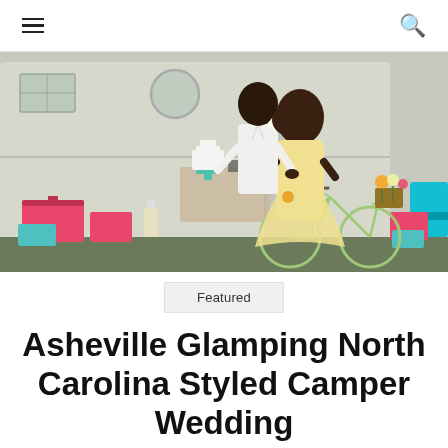☰  🔍
[Figure (photo): A couple kissing outdoors in front of a vintage camper trailer. The woman wears a short cream/tulle dress and holds a colorful bouquet with sunflowers; a mint-colored bicycle with a flower basket is between them. Colorful luggage, a white cake on a stand, and teal chairs are visible in the background.]
Featured
Asheville Glamping North Carolina Styled Camper Wedding